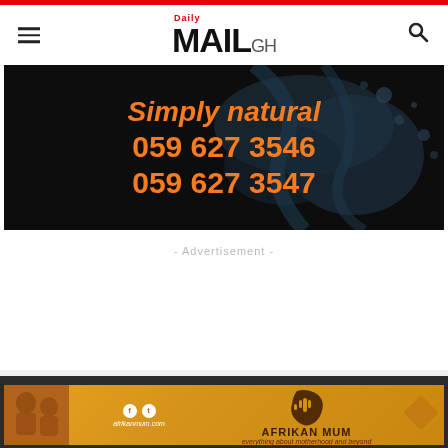Daily MAIL GH
[Figure (photo): Dark water splash background banner ad with orange text reading 'Simply natural 059 627 3546 059 627 3547']
- Advertisement -
[Figure (photo): Afrikan Mum website banner with golden/orange background, logo, social icons, and tagline 'everything about motherhood and beyond']